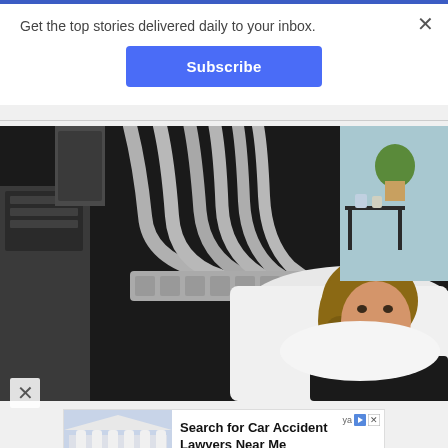Get the top stories delivered daily to your inbox.
Subscribe
[Figure (photo): A woman lying on a medical treatment bed smiling, with multiple gray flexible hoses/applicators from a medical device positioned around her. The machine on the left is large and gray. In the background there is a plant and a small table with various items.]
[Figure (screenshot): Advertisement banner: 'Search for Car Accident Lawyers Near Me' with a photo of a man in a suit in front of a government building, a 'Search Now' yellow button, and a 'ya' logo in the top right corner.]